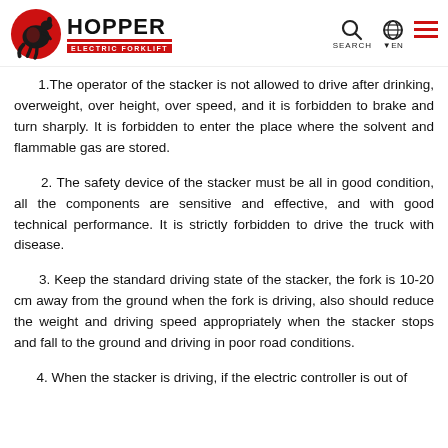HOPPER ELECTRIC FORKLIFT — SEARCH EN
1. The operator of the stacker is not allowed to drive after drinking, overweight, over height, over speed, and it is forbidden to brake and turn sharply. It is forbidden to enter the place where the solvent and flammable gas are stored.
2. The safety device of the stacker must be all in good condition, all the components are sensitive and effective, and with good technical performance. It is strictly forbidden to drive the truck with disease.
3. Keep the standard driving state of the stacker, the fork is 10-20 cm away from the ground when the fork is driving, also should reduce the weight and driving speed appropriately when the stacker stops and fall to the ground and driving in poor road conditions.
4. When the stacker is driving, if the electric controller is out of